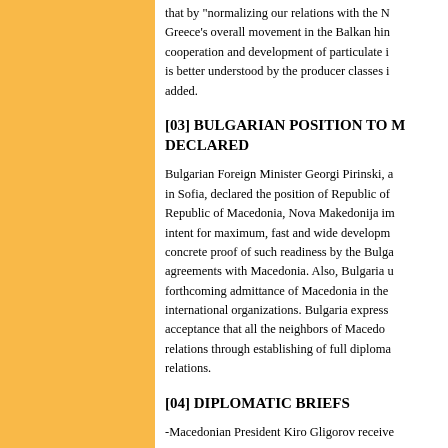that by "normalizing our relations with the N... Greece's overall movement in the Balkan hin... cooperation and development of particulate i... is better understood by the producer classes i... added.
[03] BULGARIAN POSITION TO M... DECLARED
Bulgarian Foreign Minister Georgi Pirinski, a... in Sofia, declared the position of Republic of... Republic of Macedonia, Nova Makedonija im... intent for maximum, fast and wide developm... concrete proof of such readiness by the Bulga... agreements with Macedonia. Also, Bulgaria u... forthcoming admittance of Macedonia in the... international organizations. Bulgaria express... acceptance that all the neighbors of Macedo... relations through establishing of full diploma... relations.
[04] DIPLOMATIC BRIEFS
-Macedonian President Kiro Gligorov receive...